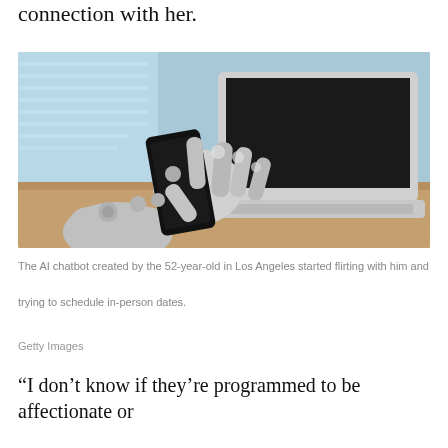connection with her.
[Figure (photo): A metallic robotic hand holding a smartphone in front of an open laptop on a wooden desk, with window blinds visible in the background.]
The AI chatbot created by the 52-year-old in Los Angeles started flirting with him and trying to schedule in-person dates.
Getty Images
“I don’t know if they’re programmed to be affectionate or